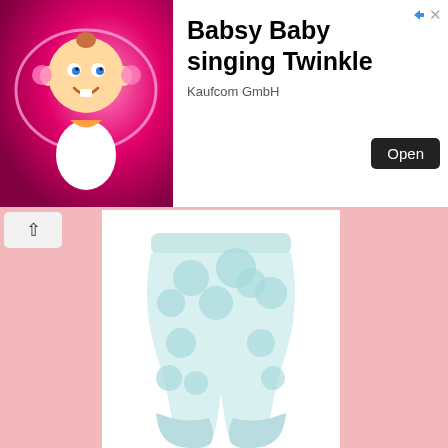[Figure (illustration): Advertisement banner for Babsy Baby singing Twinkle app by Kaufcom GmbH, showing a cartoon baby with a pink glowing background on the left, app title and Open button on the right]
[Figure (photo): Product photo of light blue baby pants/leggings with large polka dot pattern, on white background]
Overall (Source: www.hans-nature.de)
(5) Two or more baby caps. For covering the baby's head especially when the weather is cold.
(6) Six or more pairs of baby socks. Ensure you buy good ones whose band would not be too tight on baby's ankles or calves.